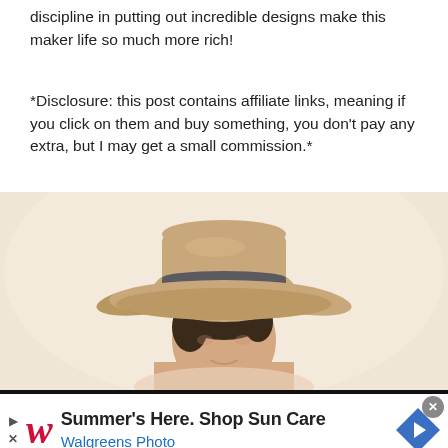discipline in putting out incredible designs make this maker life so much more rich!
*Disclosure: this post contains affiliate links, meaning if you click on them and buy something, you don't pay any extra, but I may get a small commission.*
[Figure (photo): Woman wearing a wide-brim tan fedora hat, smiling, photographed from shoulders up against a bright background]
[Figure (screenshot): Walgreens advertisement banner: 'Summer's Here. Shop Sun Care' with Walgreens Photo branding, red cursive W logo, and blue arrow icon]